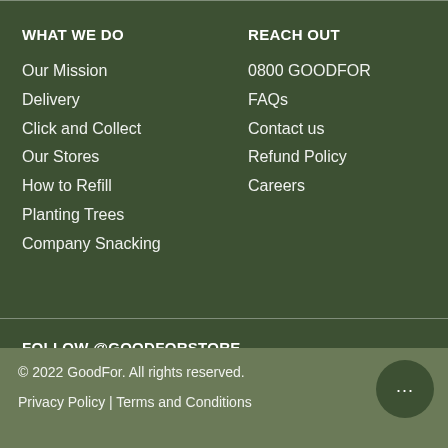WHAT WE DO
Our Mission
Delivery
Click and Collect
Our Stores
How to Refill
Planting Trees
Company Snacking
REACH OUT
0800 GOODFOR
FAQs
Contact us
Refund Policy
Careers
FOLLOW @GOODFORSTORE
[Figure (other): Social media icons: Facebook, Instagram, TikTok]
© 2022 GoodFor. All rights reserved. Privacy Policy | Terms and Conditions